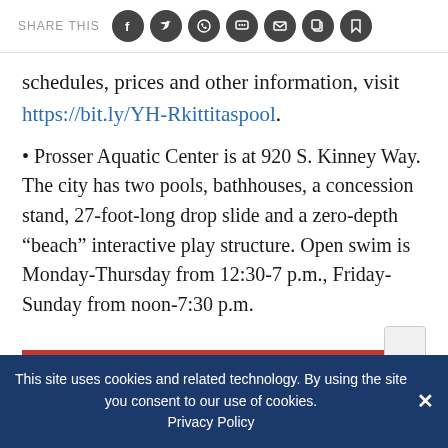SHARE THIS [social icons: Facebook, Twitter, WhatsApp, Message, Email, Copy, Bookmark]
schedules, prices and other information, visit https://bit.ly/YH-Rkittitaspool.
• Prosser Aquatic Center is at 920 S. Kinney Way. The city has two pools, bathhouses, a concession stand, 27-foot-long drop slide and a zero-depth “beach” interactive play structure. Open swim is Monday-Thursday from 12:30-7 p.m., Friday-Sunday from noon-7:30 p.m.
This site uses cookies and related technology. By using the site you consent to our use of cookies. Privacy Policy